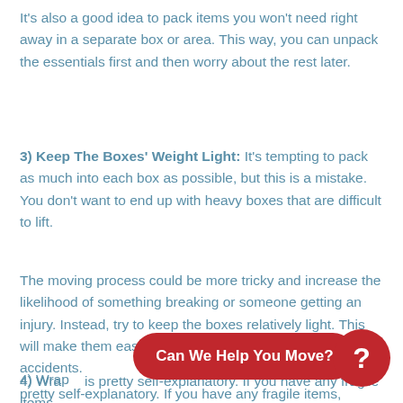It's also a good idea to pack items you won't need right away in a separate box or area. This way, you can unpack the essentials first and then worry about the rest later.
3) Keep The Boxes' Weight Light: It's tempting to pack as much into each box as possible, but this is a mistake. You don't want to end up with heavy boxes that are difficult to lift.
The moving process could be more tricky and increase the likelihood of something breaking or someone getting an injury. Instead, try to keep the boxes relatively light. This will make them easier to carry and will help to prevent accidents.
4) Wrap... is pretty self-explanatory. If you have any fragile items,
[Figure (other): Red pill-shaped CTA button reading 'Can We Help You Move?' with a red circle containing a white question mark on the right side]